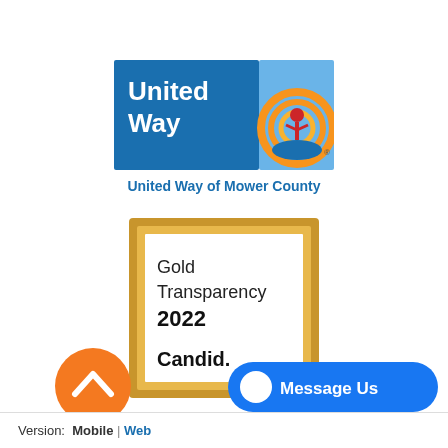[Figure (logo): United Way logo with blue background, orange/yellow arc design with red figure, and blue hand. Text 'United Way' in white on blue panel.]
United Way of Mower County
[Figure (other): Gold Transparency 2022 Candid. badge with gold double border frame on white background.]
[Figure (other): Orange circular button with white upward chevron arrow (scroll to top button).]
[Figure (other): Blue Facebook Messenger 'Message Us' button with white messenger icon.]
Version:  Mobile  |  Web